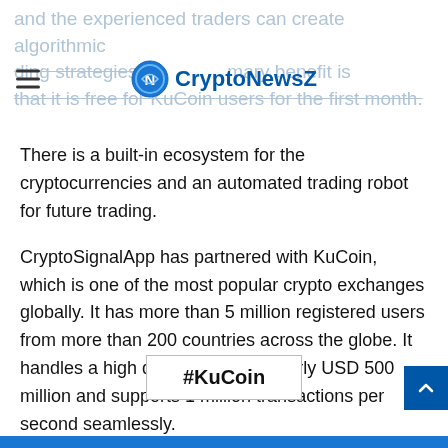CryptoNewsZ — and the experienced traders can create algorithmic trading strategies. The primary benefit is that it is free for KuCoin users for the first month.
There is a built-in ecosystem for the cryptocurrencies and an automated trading robot for future trading.
CryptoSignalApp has partnered with KuCoin, which is one of the most popular crypto exchanges globally. It has more than 5 million registered users from more than 200 countries across the globe. It handles a high daily volume of nearly USD 500 million and supports 1 million transactions per second seamlessly.
#KuCoin